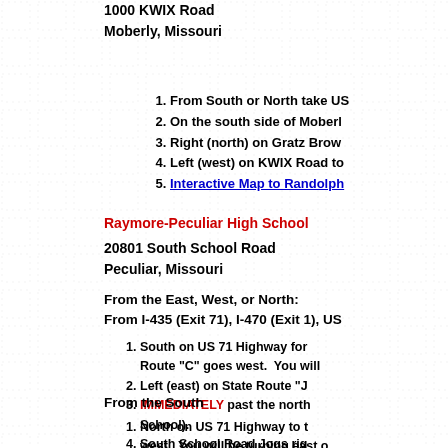1000 KWIX Road
Moberly, Missouri
1. From South or North take US
2. On the south side of Moberl
3. Right (north) on Gratz Brow
4. Left (west) on KWIX Road to
5. Interactive Map to Randolph
Raymore-Peculiar High School
20801 South School Road
Peculiar, Missouri
From the East, West, or North:
From I-435 (Exit 71), I-470 (Exit 1), US
1. South on US 71 Highway for Route "C" goes west. You will
2. Left (east) on State Route "J
3. IMMEDIATELY past the north School).
4. South School Road Jogs rig
5. Map showing the route from
6. Diagram of High School Are
From the South
1. North on US 71 Highway to t west. You will be turning east o
2. Right (east) on State Route "
3. IMMEDIATELY past the north